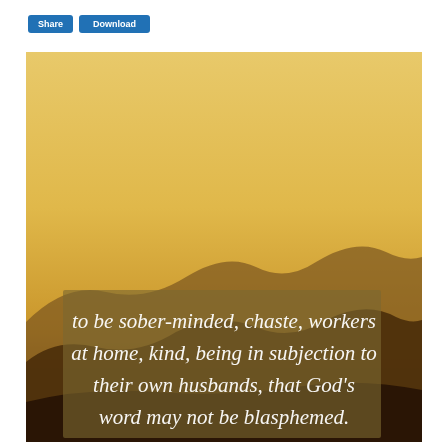[buttons]
[Figure (photo): Sunset landscape photo with golden sky gradient fading from warm yellow at top to darker orange-brown at bottom, with silhouetted mountain ridges. Overlaid semi-transparent olive/brown text box containing italic white script text: 'to be sober-minded, chaste, workers at home, kind, being in subjection to their own husbands, that God's word may not be blasphemed.']